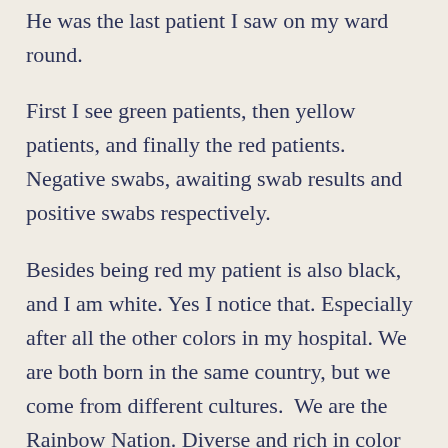He was the last patient I saw on my ward round.
First I see green patients, then yellow patients, and finally the red patients. Negative swabs, awaiting swab results and positive swabs respectively.
Besides being red my patient is also black,  and I am white. Yes I notice that. Especially after all the other colors in my hospital. We are both born in the same country, but we come from different cultures.  We are the Rainbow Nation. Diverse and rich in color and ethnicity.
Our categorization of the disease in South Africa is also divided into race, as it has become all over the world.